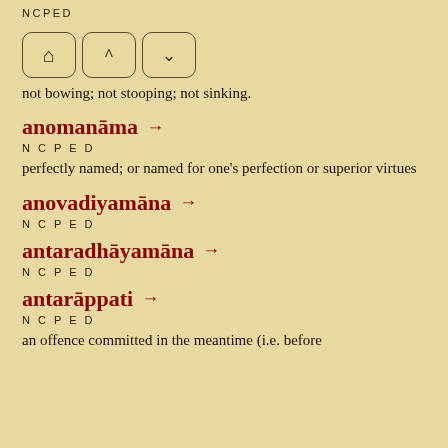NCPED
[Figure (other): Navigation bar with three buttons: home icon, up arrow, down arrow]
not bowing; not stooping; not sinking.
anomanāma →
NCPED
perfectly named; or named for one's perfection or superior virtues
anovadiyamāna →
NCPED
antaradhāyamāna →
NCPED
antarāppati →
NCPED
an offence committed in the meantime (i.e. before